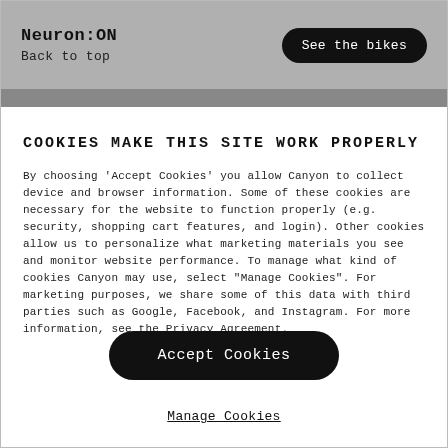Neuron:ON
Back to top
See the bikes
COOKIES MAKE THIS SITE WORK PROPERLY
By choosing 'Accept Cookies' you allow Canyon to collect device and browser information. Some of these cookies are necessary for the website to function properly (e.g. security, shopping cart features, and login). Other cookies allow us to personalize what marketing materials you see and monitor website performance. To manage what kind of cookies Canyon may use, select "Manage Cookies". For marketing purposes, we share some of this data with third parties such as Google, Facebook, and Instagram. For more information, see the Privacy Agreement.
Accept Cookies
Manage Cookies